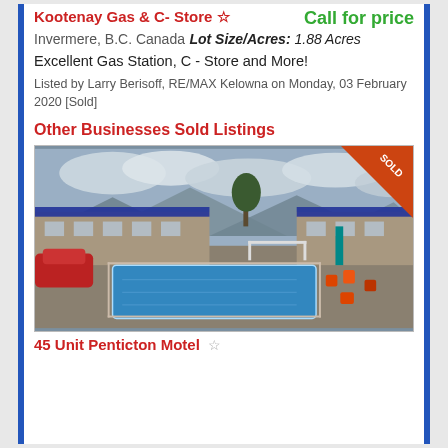Kootenay Gas & C- Store
Call for price
Invermere, B.C. Canada
Lot Size/Acres: 1.88 Acres
Excellent Gas Station, C - Store and More!
Listed by Larry Berisoff, RE/MAX Kelowna on Monday, 03 February 2020 [Sold]
Other Businesses Sold Listings
[Figure (photo): Photo of a motel with outdoor swimming pool, orange chairs, mountain backdrop, cloudy sky. SOLD banner in top right corner.]
45 Unit Penticton Motel